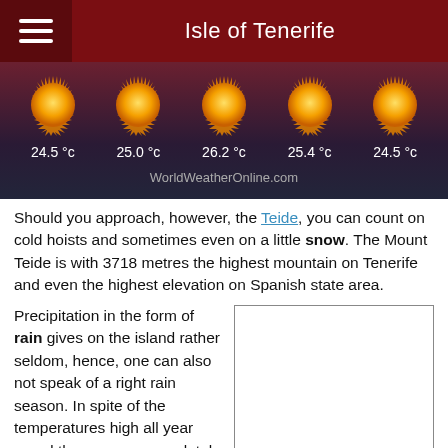Isle of Tenerife
[Figure (infographic): Five-day weather forecast showing five sun icons and temperatures: 24.5°c, 25.0°c, 26.2°c, 25.4°c, 24.5°c. Source: WorldWeatherOnline.com]
Should you approach, however, the Teide, you can count on cold hoists and sometimes even on a little snow. The Mount Teide is with 3718 metres the highest mountain on Tenerife and even the highest elevation on Spanish state area.
Precipitation in the form of rain gives on the island rather seldom, hence, one can also not speak of a right rain season. In spite of the temperatures high all year round there are on completely Tenerife hardly air-conditionings.
[Figure (other): Empty white box (advertisement placeholder)]
The home local residents and hotels swear more on ventilating fans which should provide for